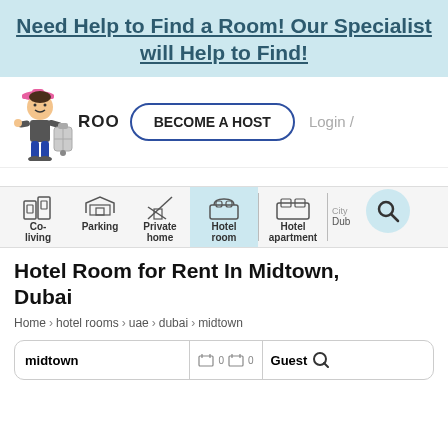Need Help to Find a Room! Our Specialist will Help to Find!
[Figure (screenshot): Website screenshot showing RoomFinder platform with navigation bar, character illustration, BECOME A HOST button, category filter strip, listing title, and breadcrumb]
Hotel Room for Rent In Midtown, Dubai
Home > hotel rooms > uae > dubai > midtown
midtown  Guest